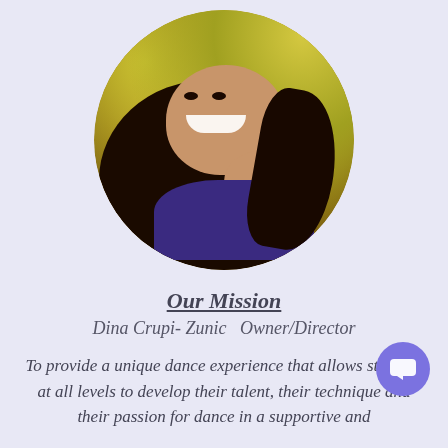[Figure (photo): Circular profile photo of Dina Crupi-Zunic, a woman with long dark wavy hair, smiling, wearing a dark blue/purple top, with a yellow-green blurred background.]
Our Mission
Dina Crupi- Zunic  Owner/Director
To provide a unique dance experience that allows students at all levels to develop their talent, their technique and their passion for dance in a supportive and